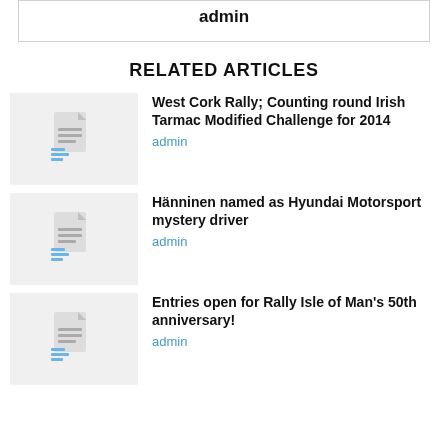admin
RELATED ARTICLES
[Figure (illustration): Document placeholder thumbnail icon with grey background]
West Cork Rally; Counting round Irish Tarmac Modified Challenge for 2014
admin
[Figure (illustration): Document placeholder thumbnail icon with grey background]
Hänninen named as Hyundai Motorsport mystery driver
admin
[Figure (illustration): Document placeholder thumbnail icon with grey background]
Entries open for Rally Isle of Man's 50th anniversary!
admin